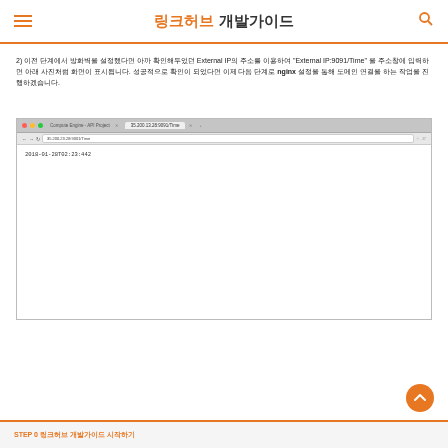링크허브 개발가이드
2) 이전 단계에서 방화벽을 설정했다면 아까 확인해두었던 External IP의 주소를 이용하여 "External IP:9091/Time" 을 주소창에 입력하면 아래 사진처럼 화면이 표시됩니다. 성공적으로 확인이 되었다면 이제 다음 단계로 nginx 설정을 통해 도메인 연결을 하는 작업을 진행하겠습니다.
[Figure (screenshot): Browser screenshot showing a Chrome window accessing 35.200.23.28:9091/Time, displaying the result 2018-01-28T02:23:442]
STEP 0 링크허브 개발가이드 시작하기